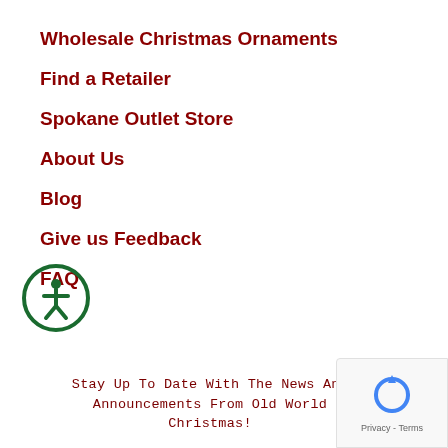Wholesale Christmas Ornaments
Find a Retailer
Spokane Outlet Store
About Us
Blog
Give us Feedback
FAQ
[Figure (logo): Accessibility icon — circular green badge with a person/wheelchair symbol inside]
Stay Up To Date With The News And Announcements From Old World Christmas!
[Figure (logo): Google reCAPTCHA badge with spinning arrows icon and Privacy - Terms text]